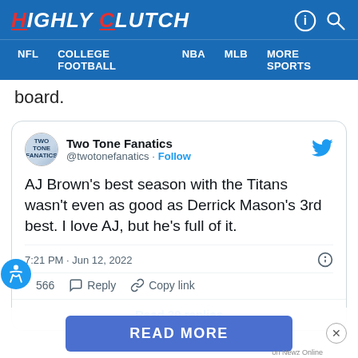HIGHLY CLUTCH — NFL | COLLEGE FOOTBALL | NBA | MLB | MORE SPORTS
board.
[Figure (screenshot): Embedded tweet from @twotonefanatics: 'AJ Brown's best season with the Titans wasn't even as good as Derrick Mason's 3rd best. I love AJ, but he's full of it.' — 7:21 PM · Jun 12, 2022 · 566 likes · Reply · Copy link · Read 30 replies]
READ MORE